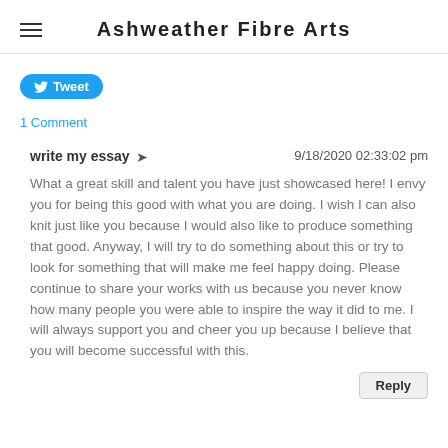Ashweather Fibre Arts
[Figure (other): Tweet button with Twitter bird icon]
1 Comment
write my essay  ➤  9/18/2020 02:33:02 pm
What a great skill and talent you have just showcased here! I envy you for being this good with what you are doing. I wish I can also knit just like you because I would also like to produce something that good. Anyway, I will try to do something about this or try to look for something that will make me feel happy doing. Please continue to share your works with us because you never know how many people you were able to inspire the way it did to me. I will always support you and cheer you up because I believe that you will become successful with this.
Reply